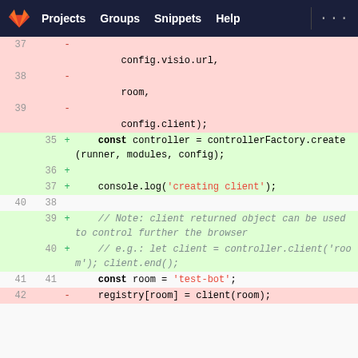GitLab navigation: Projects, Groups, Snippets, Help
[Figure (screenshot): Code diff view showing removed and added lines in a JavaScript file. Removed lines (pink): config.visio.url, room, config.client);. Added lines (green): const controller = controllerFactory.create(runner, modules, config);, blank line, console.log('creating client');, blank line, comment about client returned object, comment about e.g. usage. Unchanged: const room = 'test-bot';. Removed: registry[room] = client(room);]